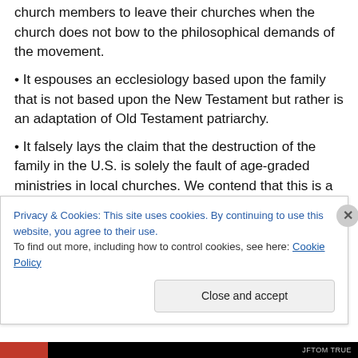church members to leave their churches when the church does not bow to the philosophical demands of the movement.
• It espouses an ecclesiology based upon the family that is not based upon the New Testament but rather is an adaptation of Old Testament patriarchy.
• It falsely lays the claim that the destruction of the family in the U.S. is solely the fault of age-graded ministries in local churches. We contend that this is a simplistic and
Privacy & Cookies: This site uses cookies. By continuing to use this website, you agree to their use.
To find out more, including how to control cookies, see here: Cookie Policy
Close and accept